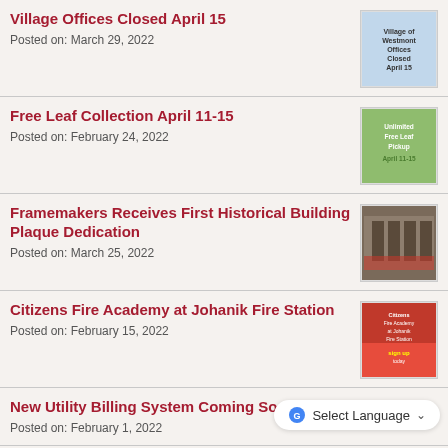Village Offices Closed April 15
Posted on: March 29, 2022
Free Leaf Collection April 11-15
Posted on: February 24, 2022
Framemakers Receives First Historical Building Plaque Dedication
Posted on: March 25, 2022
Citizens Fire Academy at Johanik Fire Station
Posted on: February 15, 2022
New Utility Billing System Coming Soon
Posted on: February 1, 2022
Fire Department Awards & Promo...
Posted on: March 10, 2022